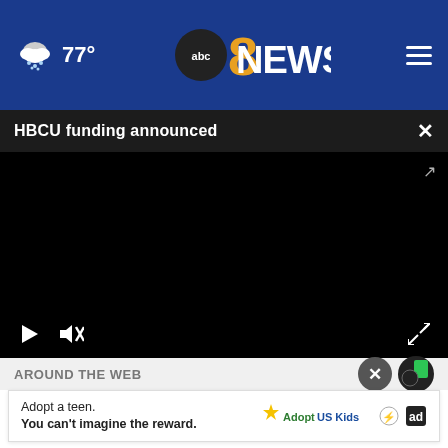77° — ABC8News header with weather icon and hamburger menu
HBCU funding announced
[Figure (screenshot): Black video player area with play button, mute button, and fullscreen control]
AROUND THE WEB
[Figure (infographic): Ad banner: Adopt a teen. You can't imagine the reward. — AdoptUSKids ad with logo]
Adopt a teen. You can't imagine the reward.